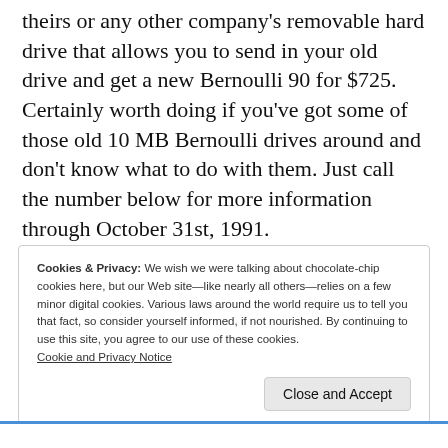theirs or any other company's removable hard drive that allows you to send in your old drive and get a new Bernoulli 90 for $725. Certainly worth doing if you've got some of those old 10 MB Bernoulli drives around and don't know what to do with them. Just call the number below for more information through October 31st, 1991.
Cookies & Privacy: We wish we were talking about chocolate-chip cookies here, but our Web site—like nearly all others—relies on a few minor digital cookies. Various laws around the world require us to tell you that fact, so consider yourself informed, if not nourished. By continuing to use this site, you agree to our use of these cookies. Cookie and Privacy Notice